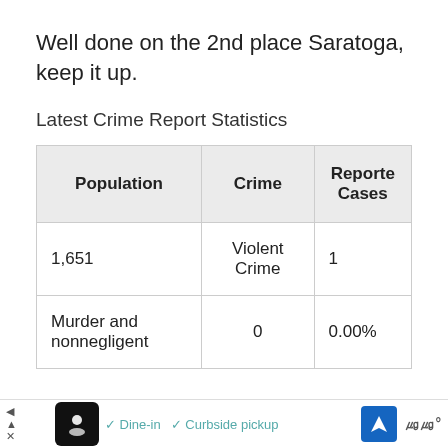Well done on the 2nd place Saratoga, keep it up.
Latest Crime Report Statistics
| Population | Crime | Reported Cases |
| --- | --- | --- |
| 1,651 | Violent Crime | 1 |
| Murder and nonnegligent | 0 | 0.00% |
[Figure (other): Advertisement bar at bottom: restaurant icon, Dine-in, Curbside pickup options, navigation arrow icon, speedometer icon]